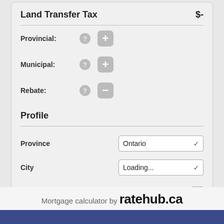Land Transfer Tax $-
Provincial:
Municipal:
Rebate:
Profile
Province — Ontario
City — Loading...
I am a first-time home buyer
Mortgage calculator by ratehub.ca